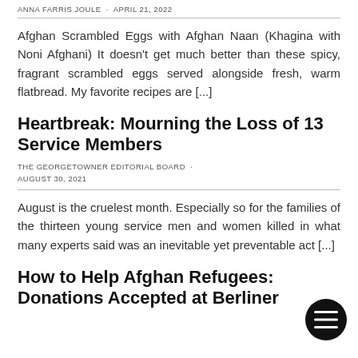ANNA FARRIS JOULE · APRIL 21, 2022
Afghan Scrambled Eggs with Afghan Naan (Khagina with Noni Afghani) It doesn't get much better than these spicy, fragrant scrambled eggs served alongside fresh, warm flatbread. My favorite recipes are [...]
Heartbreak: Mourning the Loss of 13 Service Members
THE GEORGETOWNER EDITORIAL BOARD · AUGUST 30, 2021
August is the cruelest month. Especially so for the families of the thirteen young service men and women killed in what many experts said was an inevitable yet preventable act [...]
How to Help Afghan Refugees: Donations Accepted at Berliner